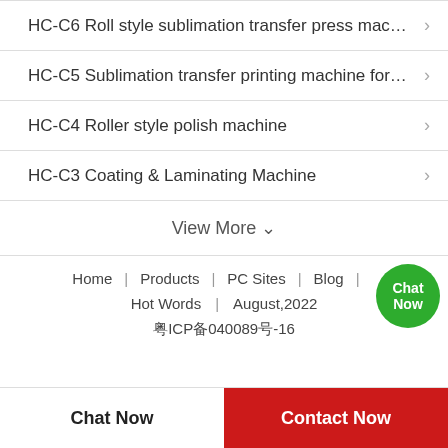HC-C6 Roll style sublimation transfer press mac…
HC-C5 Sublimation transfer printing machine for…
HC-C4 Roller style polish machine
HC-C3 Coating & Laminating Machine
View More ∨
Home | Products | PC Sites | Blog | … | Hot Words | August,2022 | 粤ICP备040089号-16
Chat Now
Contact Now